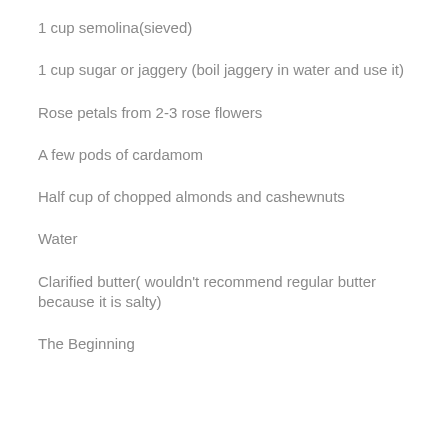1 cup semolina(sieved)
1 cup sugar or jaggery (boil jaggery in water and use it)
Rose petals from 2-3 rose flowers
A few pods of cardamom
Half cup of chopped almonds and cashewnuts
Water
Clarified butter( wouldn't recommend regular butter because it is salty)
The Beginning